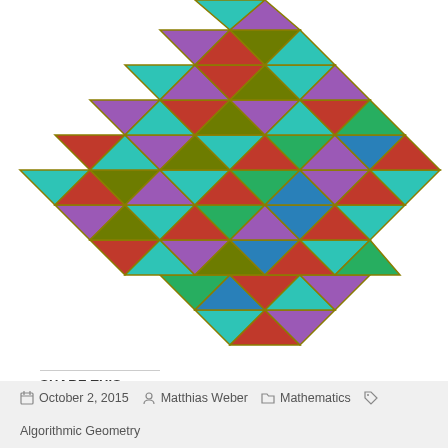[Figure (illustration): 3D geometric structure made of colorful triangular faces (tetrahedra/triangular panels) in teal, red, purple, green, blue, and olive colors, arranged in a layered pyramid-like stack viewed from slightly above.]
SHARE THIS:
Twitter
Facebook
Like
Be the first to like this.
October 2, 2015  Matthias Weber  Mathematics  Algorithmic Geometry